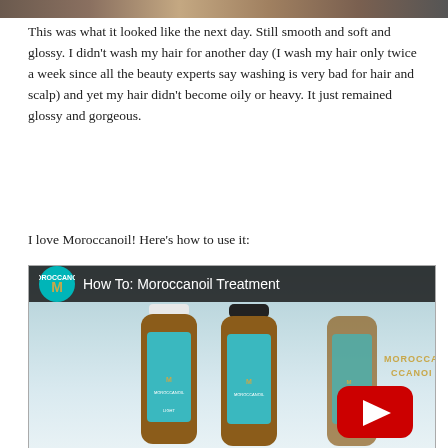[Figure (photo): Partial cropped photo at top of page showing hair]
This was what it looked like the next day. Still smooth and soft and glossy. I didn't wash my hair for another day (I wash my hair only twice a week since all the beauty experts say washing is very bad for hair and scalp) and yet my hair didn't become oily or heavy. It just remained glossy and gorgeous.
I love Moroccanoil! Here's how to use it:
[Figure (screenshot): YouTube video thumbnail showing 'How To: Moroccanoil Treatment' with Moroccanoil logo, two amber bottles of Moroccanoil Treatment product, brand name text in gold, and a large red YouTube play button]